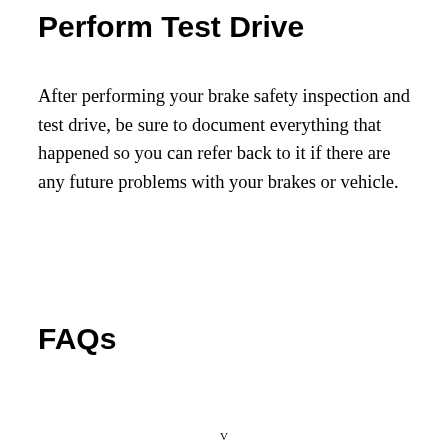Perform Test Drive
After performing your brake safety inspection and test drive, be sure to document everything that happened so you can refer back to it if there are any future problems with your brakes or vehicle.
FAQs
V